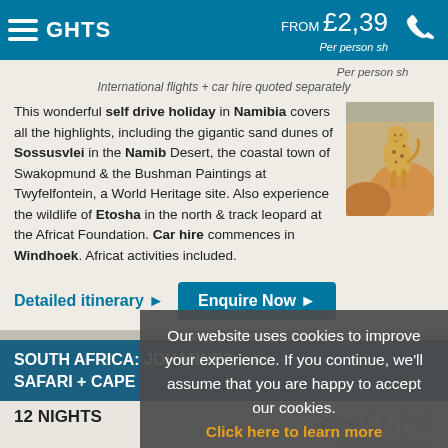NIGHTS  FROM £2,39  Per person sh  International flights + car hire quoted separately
This wonderful self drive holiday in Namibia covers all the highlights, including the gigantic sand dunes of Sossusvlei in the Namib Desert, the coastal town of Swakopmund & the Bushman Paintings at Twyfelfontein, a World Heritage site. Also experience the wildlife of Etosha in the north & track leopard at the Africat Foundation. Car hire commences in Windhoek. Africat activities included.
Detailed itinerary ▶
Enquire Now ▶
SOUTH AFRICA: JOHANNESBURG, WATERBERG, SAFARI + CAPE
12 NIGHTS
FROM £7,795  Per person sharing
International flights + car hire quoted separately
Explore the history & culture of South Africa - both ancient & modern - on this privately guided safari holiday that will allow yo... the art, music & fashions of Soweto,
Our website uses cookies to improve your experience. If you continue, we'll assume that you are happy to accept our cookies. Click here to learn more